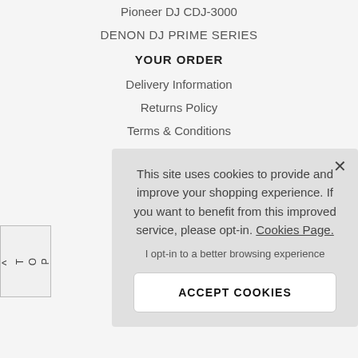Pioneer DJ CDJ-3000
DENON DJ PRIME SERIES
YOUR ORDER
Delivery Information
Returns Policy
Terms & Conditions
Finance
This site uses cookies to provide and improve your shopping experience. If you want to benefit from this improved service, please opt-in. Cookies Page.
I opt-in to a better browsing experience
ACCEPT COOKIES